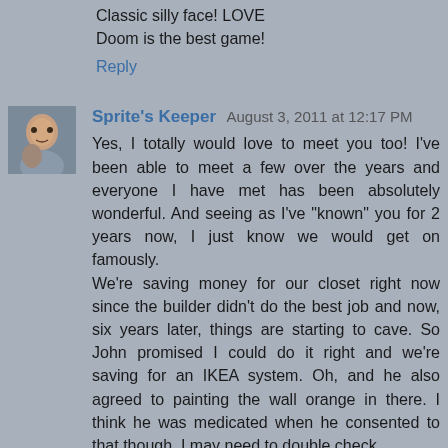Classic silly face! LOVE
Doom is the best game!
Reply
Sprite's Keeper  August 3, 2011 at 12:17 PM
Yes, I totally would love to meet you too! I've been able to meet a few over the years and everyone I have met has been absolutely wonderful. And seeing as I've "known" you for 2 years now, I just know we would get on famously. We're saving money for our closet right now since the builder didn't do the best job and now, six years later, things are starting to cave. So John promised I could do it right and we're saving for an IKEA system. Oh, and he also agreed to painting the wall orange in there. I think he was medicated when he consented to that though. I may need to double check..
Reply
Impulsive Addict  August 3, 2011 at 12:47 PM